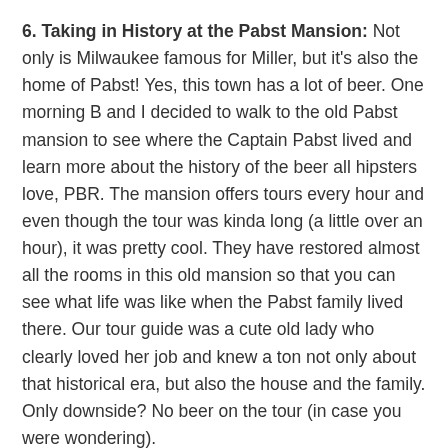6. Taking in History at the Pabst Mansion: Not only is Milwaukee famous for Miller, but it's also the home of Pabst! Yes, this town has a lot of beer. One morning B and I decided to walk to the old Pabst mansion to see where the Captain Pabst lived and learn more about the history of the beer all hipsters love, PBR. The mansion offers tours every hour and even though the tour was kinda long (a little over an hour), it was pretty cool. They have restored almost all the rooms in this old mansion so that you can see what life was like when the Pabst family lived there. Our tour guide was a cute old lady who clearly loved her job and knew a ton not only about that historical era, but also the house and the family. Only downside? No beer on the tour (in case you were wondering).